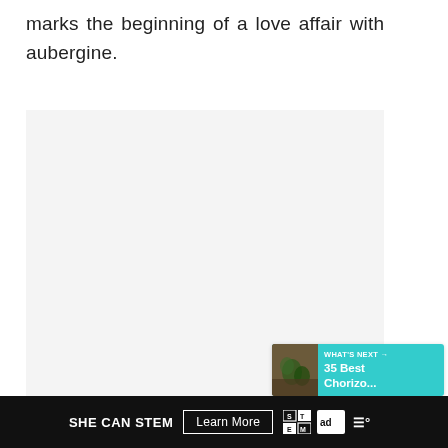marks the beginning of a love affair with aubergine.
[Figure (photo): Large light gray placeholder image area for a food/recipe photo]
[Figure (screenshot): UI overlay: heart/like button (white circle), share button with count '1' (teal pill shape with share icon), and 'WHAT'S NEXT' banner showing '35 Best Chorizo...' with a food thumbnail]
SHE CAN STEM  Learn More  [STEM logo] [Ad Council logo] [W logo]